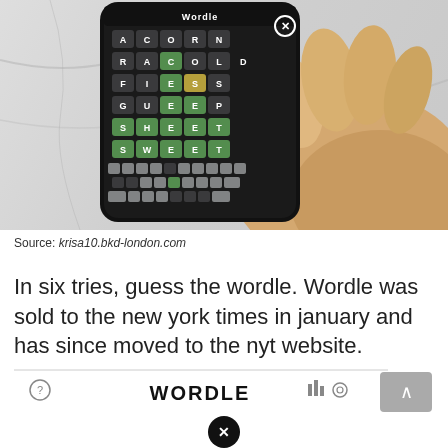[Figure (photo): Person holding a smartphone displaying the Wordle game app, showing a grid of colored letter tiles (green, yellow, dark) spelling out guesses including ACORN, RACON, FIES, GUESS, SHEET, SWEET, with a marble countertop background]
Source: krisa10.bkd-london.com
In six tries, guess the wordle. Wordle was sold to the new york times in january and has since moved to the nyt website.
[Figure (screenshot): Bottom navigation bar of the Wordle website showing a question mark icon, WORDLE logo in bold, bar chart icon, settings gear icon, and a scroll-to-top button. Below the bar is a large close/X button circle.]